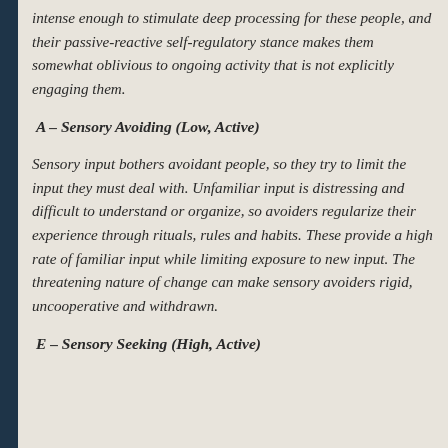intense enough to stimulate deep processing for these people, and their passive-reactive self-regulatory stance makes them somewhat oblivious to ongoing activity that is not explicitly engaging them.
A – Sensory Avoiding (Low, Active)
Sensory input bothers avoidant people, so they try to limit the input they must deal with. Unfamiliar input is distressing and difficult to understand or organize, so avoiders regularize their experience through rituals, rules and habits. These provide a high rate of familiar input while limiting exposure to new input. The threatening nature of change can make sensory avoiders rigid, uncooperative and withdrawn.
E – Sensory Seeking (High, Active)